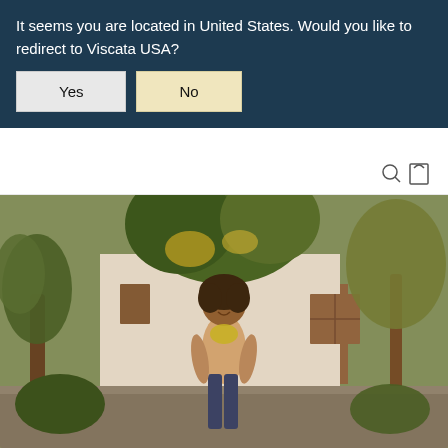It seems you are located in United States. Would you like to redirect to Viscata USA?
Yes
No
[Figure (photo): A smiling woman with curly hair wearing a yellow scarf and light top, sitting on a stone wall outdoors surrounded by tropical plants, palm trees, and a white building in the background.]